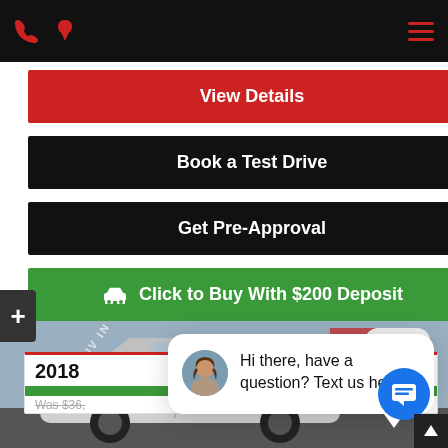Navigation bar with phone icon, location pin icon, and hamburger menu
View Details
Book a Test Drive
Get Pre-Approval
Click to Buy With $200 Deposit
close
2018
Was $36,
Hi there, have a question? Text us here.
[Figure (photo): Car dealership photo showing a white SUV with 'BEST SUV IN CLASS' diagonal text on windshield]
[Figure (other): Blue circular chat FAB button with message icon]